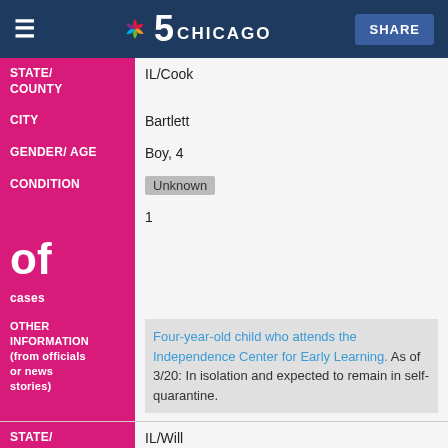≡  NBC 5 Chicago  SHARE
| Field | Value |
| --- | --- |
| STATE/COUNTY | IL/Cook |
| CITY | Bartlett |
| GENDER/AGE | Boy, 4 |
| CONDITION | Unknown |
|  | 1 |
| of |  |
| cases |  |
| OTHER INFORMATION (from officials or news stories) | Four-year-old child who attends the Independence Center for Early Learning. As of 3/20: In isolation and expected to remain in self-quarantine. |
| Field | Value |
| --- | --- |
| STATE/COUNTY | IL/Will |
| CITY | Crete |
| GENDER/AGE | Woman, 63 |
| CONDITION | Died |
|  | 1 |
| of |  |